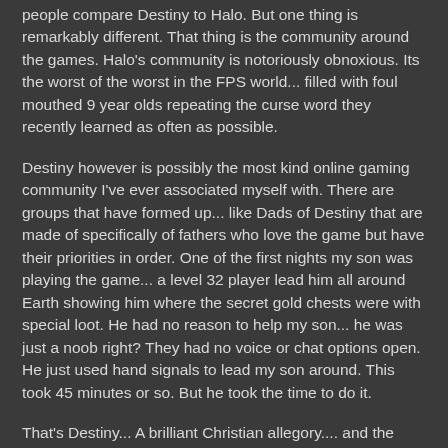people compare Destiny to Halo. But one thing is remarkably different. That thing is the community around the games. Halo's community is notoriously obnoxious. Its the worst of the worst in the FPS world... filled with foul mouthed 9 year olds repeating the curse word they recently learned as often as possible.
Destiny however is possibly the most kind online gaming community I've ever associated myself with. There are groups that have formed up... like Dads of Destiny that are made of specifically of fathers who love the game but have their priorities in order. One of the first nights my son was playing the game... a level 32 player lead him all around Earth showing him where the secret gold chests were with special loot. He had no reason to help my son... he was just a noob right? They had no voice or chat options open. He just used hand signals to lead my son around. This took 45 minutes or so. But he took the time to do it.
That's Destiny... A brilliant Christian allegory.... and the finest artistic creation of the 21st century... in any medium.